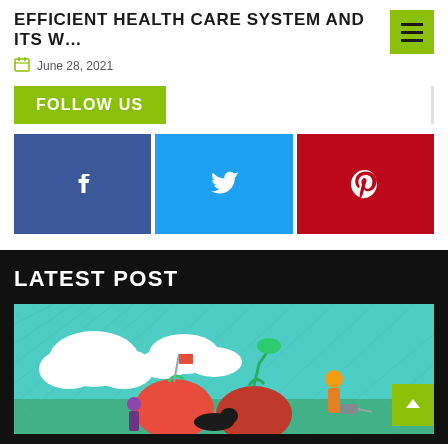EFFICIENT HEALTH CARE SYSTEM AND ITS W…
June 28, 2021
FOLLOW US
[Figure (illustration): Three social media buttons: Facebook (dark blue), Twitter (light blue), Pinterest (red), each with a white icon]
LATEST POST
[Figure (illustration): Colorful illustration showing people gardening with large fruits/vegetables on a teal background with clouds]